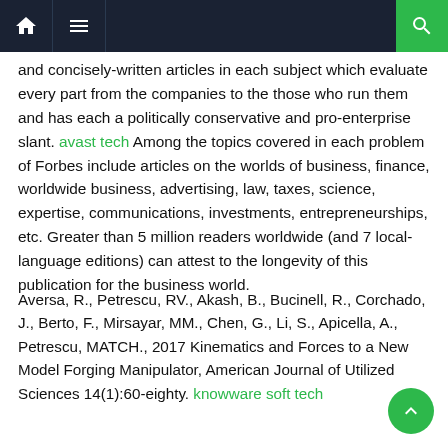Navigation bar with home, menu, and search icons
and concisely-written articles in each subject which evaluate every part from the companies to the those who run them and has each a politically conservative and pro-enterprise slant. avast tech Among the topics covered in each problem of Forbes include articles on the worlds of business, finance, worldwide business, advertising, law, taxes, science, expertise, communications, investments, entrepreneurships, etc. Greater than 5 million readers worldwide (and 7 local-language editions) can attest to the longevity of this publication for the business world.
Aversa, R., Petrescu, RV., Akash, B., Bucinell, R., Corchado, J., Berto, F., Mirsayar, MM., Chen, G., Li, S., Apicella, A., Petrescu, MATCH., 2017 Kinematics and Forces to a New Model Forging Manipulator, American Journal of Utilized Sciences 14(1):60-eighty. knowware soft tech